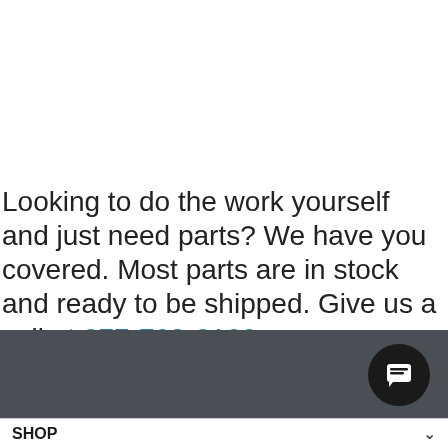Looking to do the work yourself and just need parts? We have you covered. Most parts are in stock and ready to be shipped. Give us a call at 877-703-8108
[Figure (screenshot): Dark gray banner section with a circular black chat button containing a message/chat icon on the right side]
SHOP